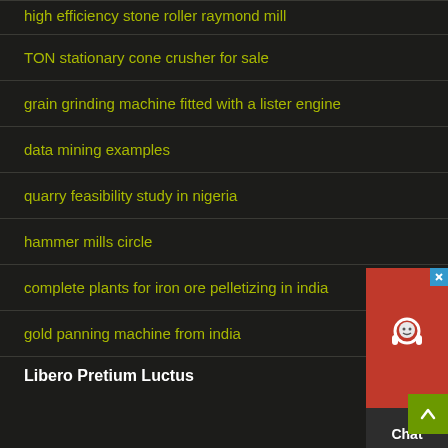high efficiency stone roller raymond mill
TON stationary cone crusher for sale
grain grinding machine fitted with a lister engine
data mining examples
quarry feasibility study in nigeria
hammer mills circle
complete plants for iron ore pelletizing in india
gold panning machine from india
Libero Pretium Luctus
[Figure (other): Live chat widget with red background, headset icon, and 'Chat Now' text, with blue close button in top-right corner]
[Figure (other): Back to top button, olive/green square with upward-pointing arrow]